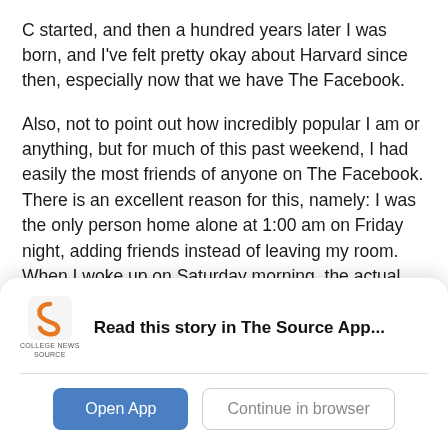C started, and then a hundred years later I was born, and I've felt pretty okay about Harvard since then, especially now that we have The Facebook.
Also, not to point out how incredibly popular I am or anything, but for much of this past weekend, I had easily the most friends of anyone on The Facebook. There is an excellent reason for this, namely: I was the only person home alone at 1:00 am on Friday night, adding friends instead of leaving my room. When I woke up on Saturday morning, the actual popular people at our school had descended upon the website with their "real friends" and what not. But I was totally
[Figure (logo): College News Source logo - orange and black stylized 'S' shape with text 'COLLEGE NEWS SOURCE' below]
Read this story in The Source App...
Open App
Continue in browser